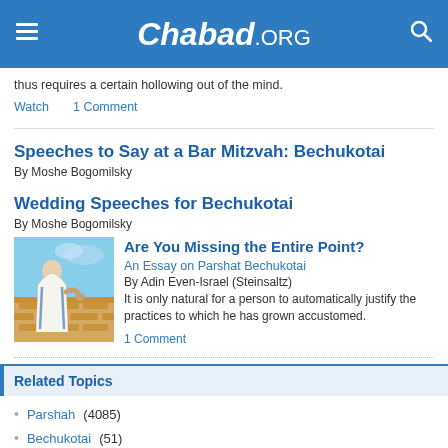Chabad.ORG
thus requires a certain hollowing out of the mind.
Watch    1 Comment
Speeches to Say at a Bar Mitzvah: Bechukotai
By Moshe Bogomilsky
Wedding Speeches for Bechukotai
By Moshe Bogomilsky
[Figure (illustration): Illustration of a Jewish figure in prayer shawl at a wall, with golden/blue sky background]
Are You Missing the Entire Point?
An Essay on Parshat Bechukotai
By Adin Even-Israel (Steinsaltz)
It is only natural for a person to automatically justify the practices to which he has grown accustomed.
1 Comment
Related Topics
Parshah (4085)
Bechukotai (51)